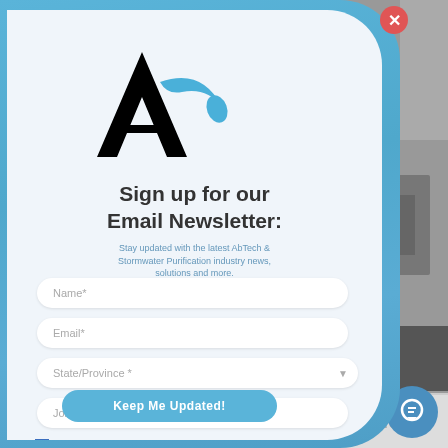[Figure (screenshot): AbTech Industries website screenshot with email newsletter signup modal overlay. The modal has the AbTech logo, a form with Name, Email, State/Province, and Job Title fields, a checkbox for webinar registration, and a 'Keep Me Updated!' button. The background shows an industrial stormwater purification machine and navigation elements.]
Sign up for our Email Newsletter:
Stay updated with the latest AbTech & Stormwater Purification industry news, solutions and more.
Name*
Email*
State/Province*
Job Title
Register me for AbTech's Stormwater Purification live Webinars
Keep Me Updated!
Eva
View Product